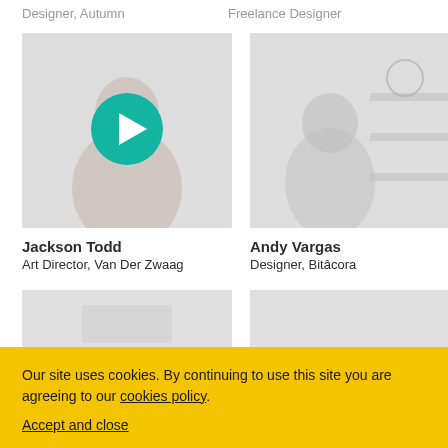Designer, Autumn
Freelance Designer
[Figure (photo): Photo/video thumbnail of Jackson Todd with a teal play button overlay]
Jackson Todd
Art Director, Van Der Zwaag
[Figure (photo): Photo thumbnail of Andy Vargas]
Andy Vargas
Designer, Bitâcora
[Figure (photo): Partially visible photo thumbnail, bottom row left]
[Figure (photo): Partially visible photo thumbnail, bottom row right]
Our site uses cookies. By continuing to use this site you are agreeing to our cookies policy.
Accept and close